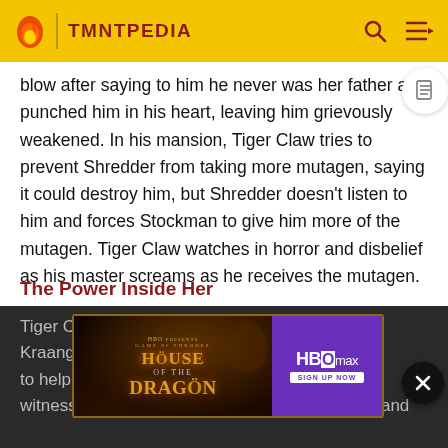TMNTPEDIA
blow after saying to him he never was her father and punched him in his heart, leaving him grievously weakened. In his mansion, Tiger Claw tries to prevent Shredder from taking more mutagen, saying it could destroy him, but Shredder doesn't listen to him and forces Stockman to give him more of the mutagen. Tiger Claw watches in horror and disbelief as his master screams as he receives the mutagen.
The Power Inside Her
[Figure (screenshot): HBO Max advertisement for House of the Dragon (Game of Thrones spinoff) with dark fantasy artwork and HBO Max logo with 'Sign Up Now' button]
Tiger C... the Kraang... mutagen to help... sey witnesses this and waits for the Turtles to come and